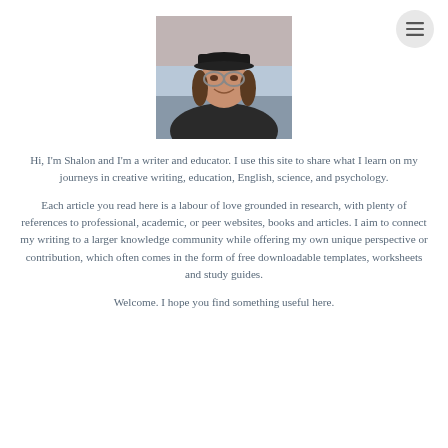[Figure (photo): Portrait photo of Shalon, a woman wearing a black cap and glasses, smiling outdoors near water]
Hi, I'm Shalon and I'm a writer and educator. I use this site to share what I learn on my journeys in creative writing, education, English, science, and psychology.
Each article you read here is a labour of love grounded in research, with plenty of references to professional, academic, or peer websites, books and articles. I aim to connect my writing to a larger knowledge community while offering my own unique perspective or contribution, which often comes in the form of free downloadable templates, worksheets and study guides.
Welcome. I hope you find something useful here.